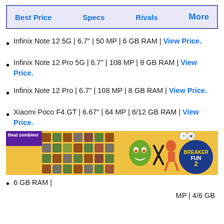Best Price | Specs | Rivals | More
Infinix Note 12 5G | 6.7" | 50 MP | 6 GB RAM | View Price.
Infinix Note 12 Pro 5G | 6.7" | 108 MP | 8 GB RAM | View Price.
Infinix Note 12 Pro | 6.7" | 108 MP | 8 GB RAM | View Price.
Xiaomi Poco F4 GT | 6.67" | 64 MP | 8/12 GB RAM | View Price.
[Figure (illustration): Ad banner for Breaker Fun 2 game showing zombie characters on a yellow background with game logo and close button]
6 GB RAM |
MP | 4/6 GB